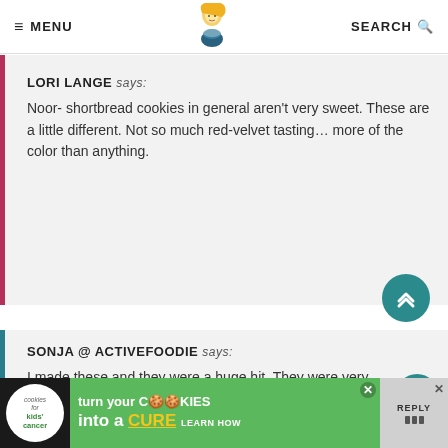≡ MENU  [logo]  SEARCH 🔍
LORI LANGE says:
Noor- shortbread cookies in general aren't very sweet. These are a little different. Not so much red-velvet tasting… more of the color than anything.
SONJA @ ACTIVEFOODIE says:
I made these and they were a huge hit. They were very crisp (I prefer thick and chewy) but they were an absolute HIT at work and all my co-workers LOVED them! The addition of them being dipped in white chocolate actually was a nice contrast to the crisp cookie. And VERY festive!
[Figure (infographic): Advertisement banner: cookies for kids' cancer - turn your cookies into a CURE LEARN HOW]